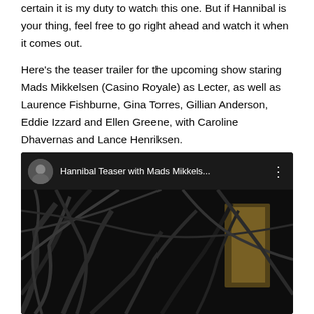certain it is my duty to watch this one. But if Hannibal is your thing, feel free to go right ahead and watch it when it comes out.
Here's the teaser trailer for the upcoming show staring Mads Mikkelsen (Casino Royale) as Lecter, as well as Laurence Fishburne, Gina Torres, Gillian Anderson, Eddie Izzard and Ellen Greene, with Caroline Dhavernas and Lance Henriksen.
[Figure (screenshot): Embedded YouTube video player showing 'Hannibal Teaser with Mads Mikkels...' with a dark thumbnail featuring twisted branches and a glowing doorway, with a red YouTube play button in the center.]